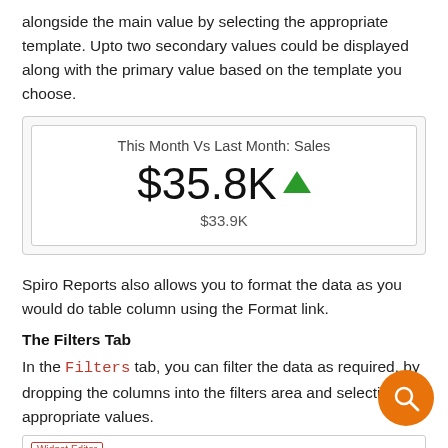alongside the main value by selecting the appropriate template. Upto two secondary values could be displayed along with the primary value based on the template you choose.
[Figure (screenshot): Widget showing 'This Month Vs Last Month: Sales' with main value $35.8K and green up arrow, secondary value $33.9K below]
Spiro Reports also allows you to format the data as you would do table column using the Format link.
The Filters Tab
In the Filters tab, you can filter the data as required, by dropping the columns into the filters area and selecting the appropriate values.
[Figure (screenshot): Widget Editor screenshot partial view at the bottom of the page]